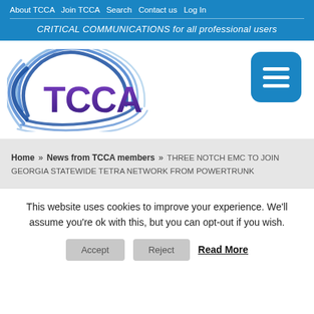About TCCA  Join TCCA  Search  Contact us  Log In
CRITICAL COMMUNICATIONS for all professional users
[Figure (logo): TCCA logo with swirl graphic and bold purple 'TCCA' text]
[Figure (other): Hamburger menu button (three horizontal lines on blue rounded square background)]
Home » News from TCCA members » THREE NOTCH EMC TO JOIN GEORGIA STATEWIDE TETRA NETWORK FROM POWERTRUNK
This website uses cookies to improve your experience. We'll assume you're ok with this, but you can opt-out if you wish.
Accept   Reject   Read More